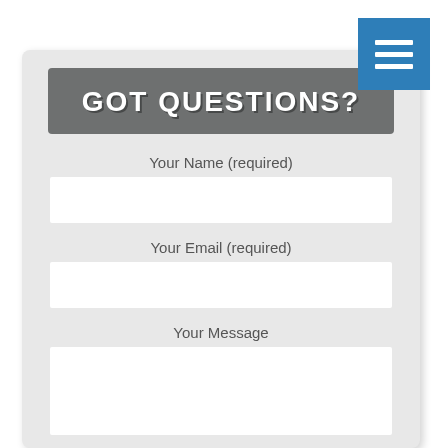[Figure (screenshot): Blue hamburger/menu button with three white horizontal bars in top-right corner]
GOT QUESTIONS?
Your Name (required)
Your Email (required)
Your Message